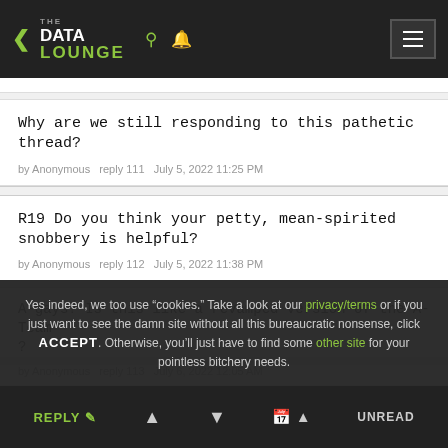The Data Lounge
Why are we still responding to this pathetic thread?
by Anonymous   reply 111   July 5, 2022 11:25 PM
R19 Do you think your petty, mean-spirited snobbery is helpful?
by Anonymous   reply 112   July 5, 2022 11:38 PM
Yes indeed, we too use "cookies." Take a look at our privacy/terms or if you just want to see the damn site without all this bureaucratic nonsense, click ACCEPT. Otherwise, you'll just have to find some other site for your pointless bitchery needs.
A-gays? Is this like a revamped version of the A-Team?
by Anonymous   reply 113   July 6, 2022 12:05 AM
REPLY   ▲   ▼   UNREAD